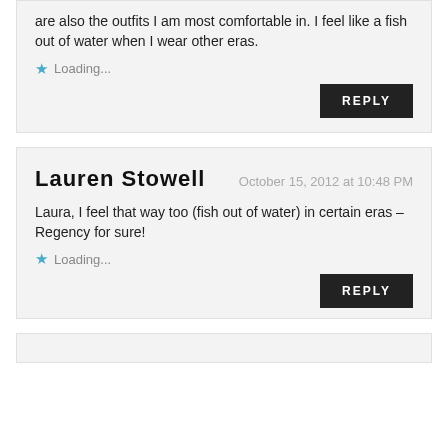are also the outfits I am most comfortable in. I feel like a fish out of water when I wear other eras.
Loading...
REPLY
Lauren Stowell
October 15, 2012 at 10:48 PM
Laura, I feel that way too (fish out of water) in certain eras – Regency for sure!
Loading...
REPLY